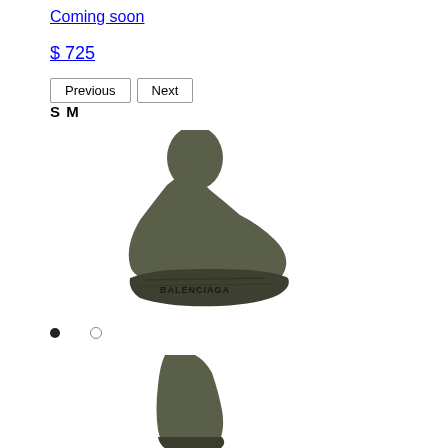Coming soon
$ 725
Previous  Next
S M
[Figure (photo): Balenciaga sock sneaker in olive/dark green colorway, side view showing knit upper and chunky sole with Balenciaga branding on the midsole]
[Figure (photo): Partial view of a second Balenciaga sneaker, cropped at bottom of page, showing the heel/back portion in dark grey/olive color]